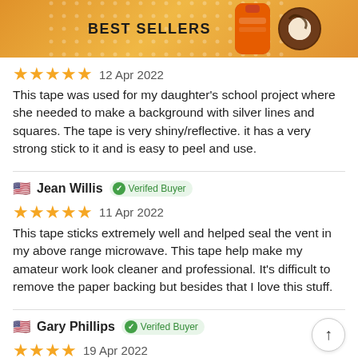[Figure (infographic): Best Sellers header banner with orange gradient background, polka dot pattern, title 'BEST SELLERS', and two product images (orange bottle and chocolate).]
[Figure (infographic): Five gold star rating with date '12 Apr 2022']
This tape was used for my daughter's school project where she needed to make a background with silver lines and squares. The tape is very shiny/reflective. it has a very strong stick to it and is easy to peel and use.
Jean Willis  Verifed Buyer
[Figure (infographic): Five gold star rating with date '11 Apr 2022']
This tape sticks extremely well and helped seal the vent in my above range microwave. This tape help make my amateur work look cleaner and professional. It's difficult to remove the paper backing but besides that I love this stuff.
Gary Phillips  Verifed Buyer
[Figure (infographic): Partial five gold star rating with date '19 Apr 2022' (cut off at bottom)]